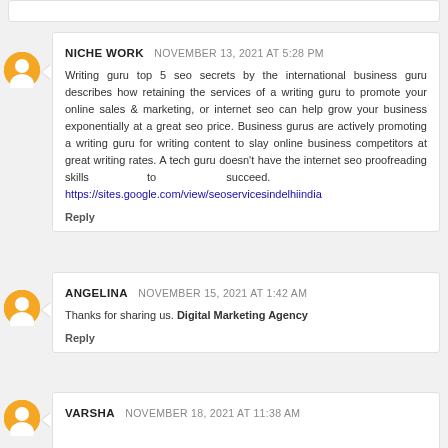NICHE WORK  NOVEMBER 13, 2021 AT 5:28 PM
Writing guru top 5 seo secrets by the international business guru describes how retaining the services of a writing guru to promote your online sales & marketing, or internet seo can help grow your business exponentially at a great seo price. Business gurus are actively promoting a writing guru for writing content to slay online business competitors at great writing rates. A tech guru doesn't have the internet seo proofreading skills to succeed. https://sites.google.com/view/seoservicesindelhiindia
Reply
ANGELINA  NOVEMBER 15, 2021 AT 1:42 AM
Thanks for sharing us. Digital Marketing Agency
Reply
VARSHA  NOVEMBER 18, 2021 AT 11:38 AM